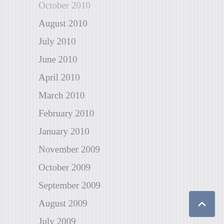August 2010
July 2010
June 2010
April 2010
March 2010
February 2010
January 2010
November 2009
October 2009
September 2009
August 2009
July 2009
June 2009
May 2009
April 2009